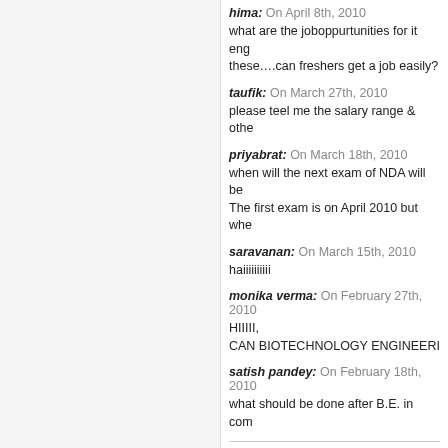hima: On April 8th, 2010
what are the joboppurtunities for it eng these….can freshers get a job easily?
taufik: On March 27th, 2010
please teel me the salary range & othe
priyabrat: On March 18th, 2010
when will the next exam of NDA will be The first exam is on April 2010 but whe
saravanan: On March 15th, 2010
haiiiiiiiiii
monika verma: On February 27th, 2010
HIIIII,
CAN BIOTECHNOLOGY ENGINEERI
satish pandey: On February 18th, 2010
what should be done after B.E. in com